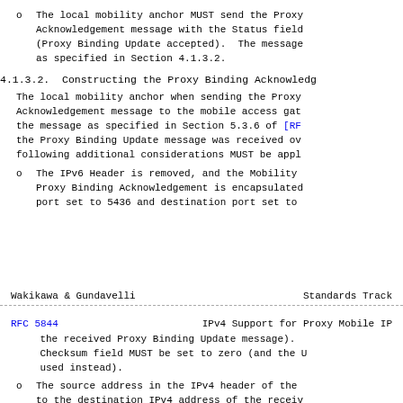o  The local mobility anchor MUST send the Proxy Acknowledgement message with the Status field (Proxy Binding Update accepted).  The message as specified in Section 4.1.3.2.
4.1.3.2.  Constructing the Proxy Binding Acknowledg
The local mobility anchor when sending the Proxy Acknowledgement message to the mobile access gat the message as specified in Section 5.3.6 of [RF the Proxy Binding Update message was received ov following additional considerations MUST be appl
o  The IPv6 Header is removed, and the Mobility Proxy Binding Acknowledgement is encapsulated port set to 5436 and destination port set to
Wakikawa & Gundavelli          Standards Track
RFC 5844               IPv4 Support for Proxy Mobile IP
the received Proxy Binding Update message). Checksum field MUST be set to zero (and the U used instead).
o  The source address in the IPv4 header of the to the destination IPv4 address of the receiv